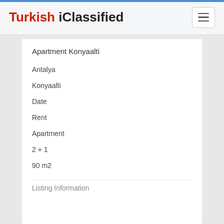Turkish iClassified
Apartment Konyaalti
Antalya
Konyaalti
Date
Rent
Apartment
2 + 1
90 m2
Listing Information